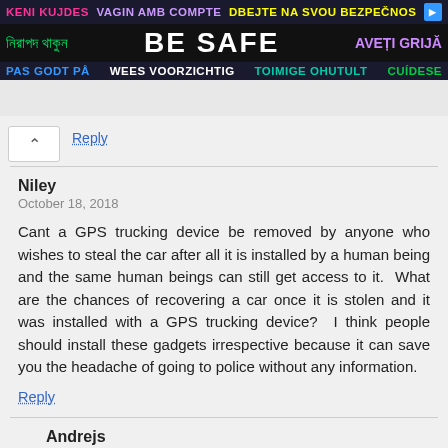[Figure (infographic): Safety banner advertisement in multiple languages including Catalan, Czech, Bengali, English 'BE SAFE', Romanian, Danish, Dutch, Estonian, Portuguese with colorful text on dark background]
Reply
Niley
October 18, 2018

Cant a GPS trucking device be removed by anyone who wishes to steal the car after all it is installed by a human being and the same human beings can still get access to it. What are the chances of recovering a car once it is stolen and it was installed with a GPS trucking device? I think people should install these gadgets irrespective because it can save you the headache of going to police without any information.
Reply
Andrejs
October 19, 2018

Hi Niley and thanks for questions regarding GPS